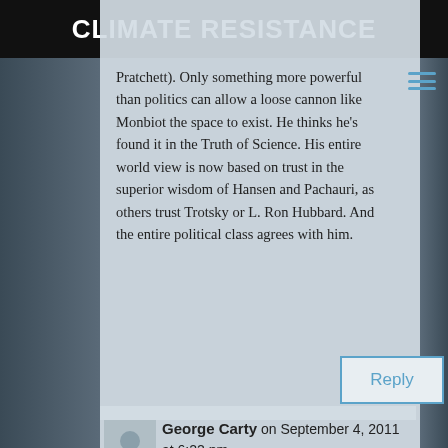CLIMATE RESISTANCE
Pratchett). Only something more powerful than politics can allow a loose cannon like Monbiot the space to exist. He thinks he's found it in the Truth of Science. His entire world view is now based on trust in the superior wisdom of Hansen and Pachauri, as others trust Trotsky or L. Ron Hubbard. And the entire political class agrees with him.
Reply
George Carty on September 4, 2011 at 6:22 pm
Aren't many environmentalists people who recoil from the complexity of the contemporary world, and yearn to return to a simpler way of life?